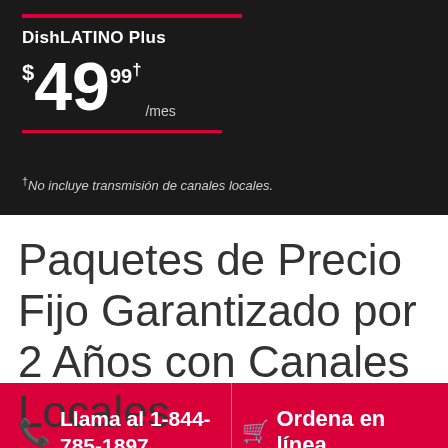DishLATINO Plus $49.99†/mes
†No incluye transmisión de canales locales.
Paquetes de Precio Fijo Garantizado por 2 Años con Canales Locales
Llama al 1-844-785-1897
Ordena en línea